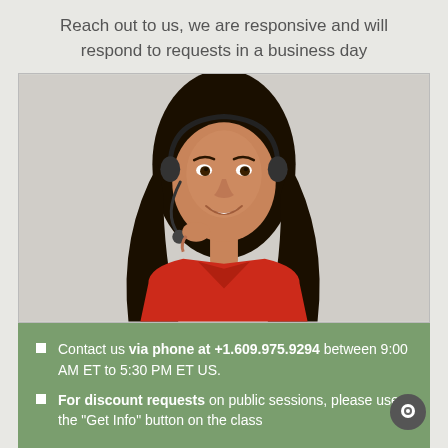Reach out to us, we are responsive and will respond to requests in a business day
[Figure (photo): Customer service representative woman wearing a red top and a headset with microphone, smiling, against a light gray background]
Contact us via phone at +1.609.975.9294 between 9:00 AM ET to 5:30 PM ET US.
For discount requests on public sessions, please use the "Get Info" button on the class